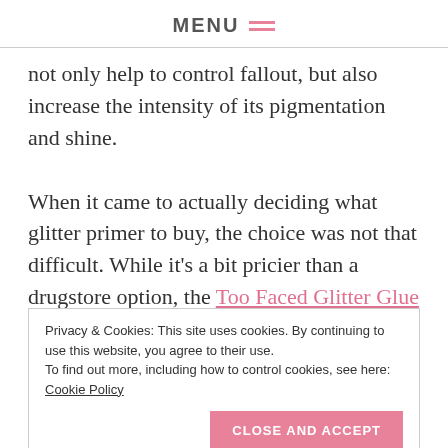MENU
not only help to control fallout, but also increase the intensity of its pigmentation and shine.
When it came to actually deciding what glitter primer to buy, the choice was not that difficult. While it’s a bit pricier than a drugstore option, the Too Faced Glitter Glue has absolutely rave reviews online and is hailed as a Holy Grail of many a blogger
Privacy & Cookies: This site uses cookies. By continuing to use this website, you agree to their use.
To find out more, including how to control cookies, see here: Cookie Policy
the swatches.